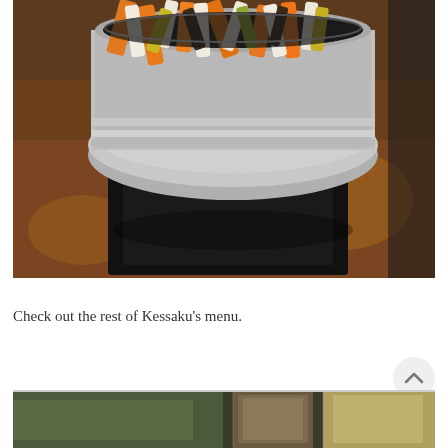[Figure (photo): A metal steamer bowl filled with colorful sliced vegetables (orange carrots, white daikon, yellow and green pieces) sitting on a black wooden platform on a dark wooden table. Restaurant setting.]
Check out the rest of Kessaku’s menu.
[Figure (photo): Partial view of a second food photo at the bottom of the page, appearing to show restaurant items on a table.]